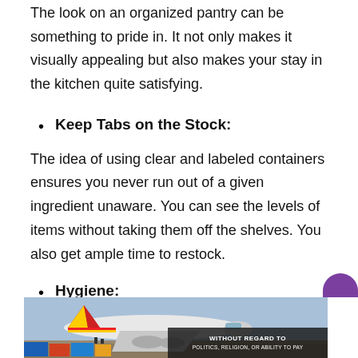The look on an organized pantry can be something to pride in. It not only makes it visually appealing but also makes your stay in the kitchen quite satisfying.
Keep Tabs on the Stock:
The idea of using clear and labeled containers ensures you never run out of a given ingredient unaware. You can see the levels of items without taking them off the shelves. You also get ample time to restock.
Hygiene:
[Figure (photo): Advertisement banner showing a cargo airplane being loaded, with an overlay text reading 'WITHOUT REGARD TO POLITICS, RELIGION, OR ABILITY TO PAY']